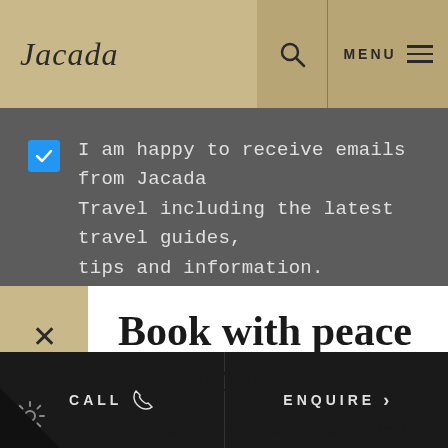Jacada | MENU
I am happy to receive emails from Jacada Travel including the latest travel guides, tips and information.
Book with peace of mind
We've designed our peace of mind policy to allow you to book your adventure with confidence.
TAKE ME THERE
CALL | ENQUIRE >